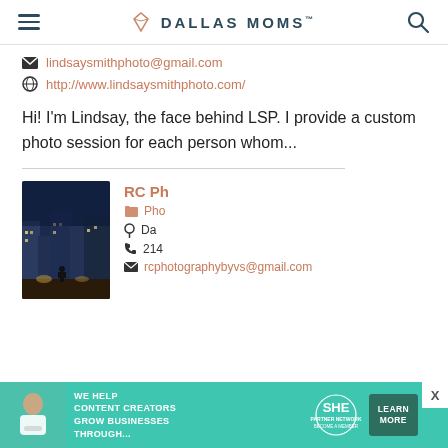DALLAS MOMS
lindsaysmithphoto@gmail.com
http://www.lindsaysmithphoto.com/
Hi! I'm Lindsay, the face behind LSP. I provide a custom photo session for each person whom...
RC Ph
Pho
Da
214
rcphotographybyvs@gmail.com
[Figure (photo): Night cityscape with a person silhouetted against illuminated skyscrapers]
[Figure (infographic): SHE Partner Network advertisement banner: We help content creators grow businesses through...]